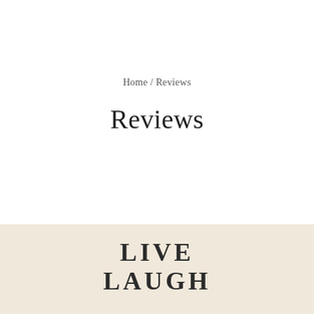Home / Reviews
Reviews
LIVE
LAUGH